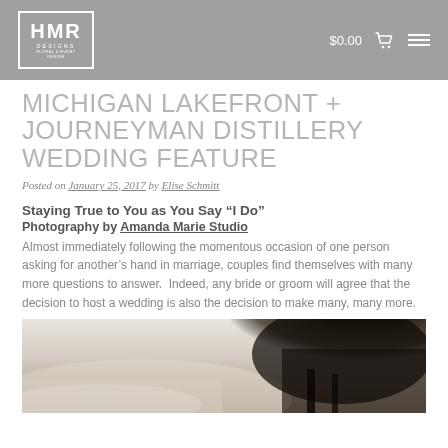HMR DESIGNS  $0.00
MICHIGAN LAKEFRONT + JOURNEYMAN DISTILLERY WEDDING FEATURE
Posted on January 25, 2017 by Elise Schmitt
Staying True to You as You Say “I Do”
Photography by Amanda Marie Studio
Almost immediately following the momentous occasion of one person asking for another’s hand in marriage, couples find themselves with many more questions to answer.  Indeed, any bride or groom will agree that the decision to host a wedding is also the decision to make many, many more.
[Figure (photo): Outdoor wedding photo showing a tree silhouette against a light sky, with soft natural lighting]